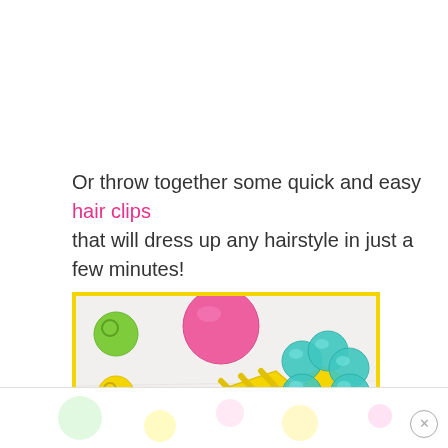Or throw together some quick and easy hair clips that will dress up any hairstyle in just a few minutes!
[Figure (photo): A yellow hair clip with a teal glittery flower decoration made from rounded beads, surrounded by colorful pony beads in green, pink, and yellow on a white surface. Below shows pink cherry-shaped and glittery pink heart-shaped beads.]